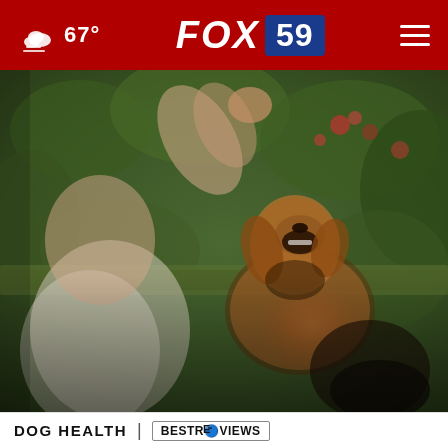67° FOX 59
[Figure (photo): Person holding a treat up high while a golden retriever dog jumps up with mouth open to catch it, outdoors with green garden foliage in the background]
DOG HEALTH | BESTREVIEWS